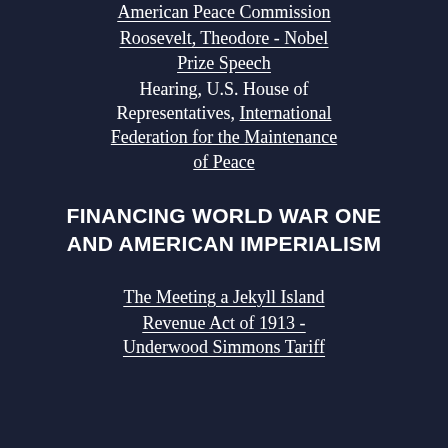American Peace Commission
Roosevelt, Theodore - Nobel Prize Speech
Hearing, U.S. House of Representatives, International Federation for the Maintenance of Peace
FINANCING WORLD WAR ONE AND AMERICAN IMPERIALISM
The Meeting a Jekyll Island
Revenue Act of 1913 - Underwood Simmons Tariff